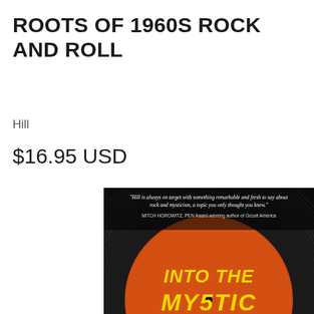ROOTS OF 1960S ROCK AND ROLL
Hill
$16.95 USD
[Figure (photo): Book cover of 'Into the Mystic' showing a vinyl record with an orange label. The cover features the title 'INTO THE MYSTIC' in large yellow psychedelic lettering on the orange record label. A quote at the top reads: 'Hill is always on target with something remarkable and fresh to say about rock and mysticism, a topic you only thought you knew.' attributed to MITCH HOROWITZ, PEN Award-winning author of Occult America.]